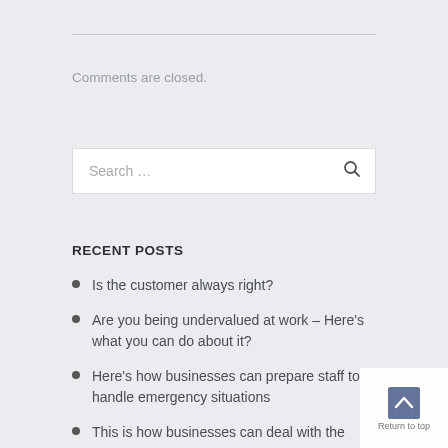Comments are closed.
Search …
RECENT POSTS
Is the customer always right?
Are you being undervalued at work – Here's what you can do about it?
Here's how businesses can prepare staff to handle emergency situations
This is how businesses can deal with the